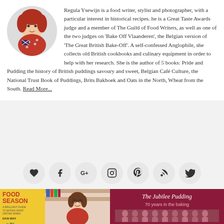[Figure (photo): Circular avatar photo of Regula Ysewijn, a woman with red hair wearing a red polka dot dress]
Regula Ysewijn is a food writer, stylist and photographer, with a particular interest in historical recipes. he is a Great Taste Awards judge and a member of The Guild of Food Writers, as well as one of the two judges on 'Bake Off Vlaanderen', the Belgian version of 'The Great British Bake-Off'. A self-confessed Anglophile, she collects old British cookbooks and culinary equipment in order to help with her research. She is the author of 5 books: Pride and Pudding the history of British puddings savoury and sweet, Belgian Café Culture, the National Trust Book of Puddings, Brits Bakboek and Oats in the North, Wheat from the South. Read More...
[Figure (infographic): Row of 7 social media icon buttons in circles: heart/like, Facebook, Google+, Instagram, Pinterest, RSS, Twitter]
[Figure (photo): Food Season book cover (yellow) alongside a photo of a smiling woman in red]
[Figure (photo): The Jubilee Pudding: 70 years in the baking - dark red book cover with group photo]